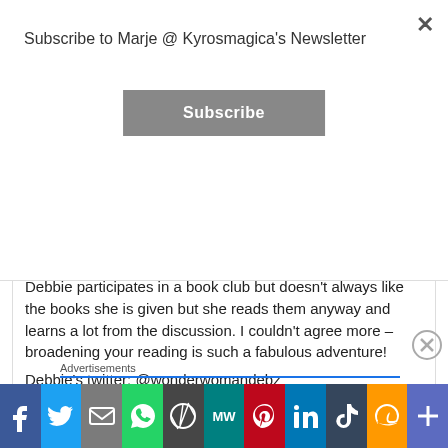Subscribe to Marje @ Kyrosmagica's Newsletter
Subscribe
boots/
Debbie participates in a book club but doesn't always like the books she is given but she reads them anyway and learns a lot from the discussion. I couldn't agree more – broadening your reading is such a fabulous adventure!
Debbie's twitter: @wonderwomandebz
Goodreads: Debbie Harris
Advertisements
ThePlatform Where